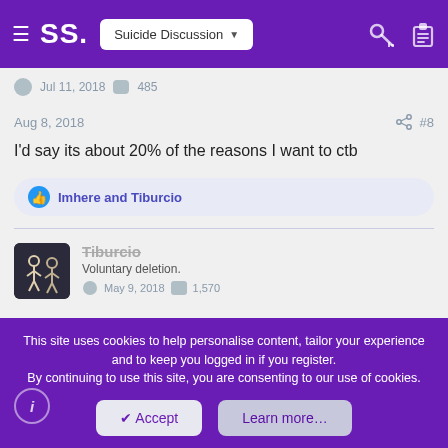SS. Suicide Discussion
Jul 11, 2018  485
Aug 8, 2018  #8
I'd say its about 20% of the reasons I want to ctb
Imhere and Tiburcio
Tiburcio
Voluntary deletion.
May 9, 2018  1,570
This site uses cookies to help personalise content, tailor your experience and to keep you logged in if you register.
By continuing to use this site, you are consenting to our use of cookies.